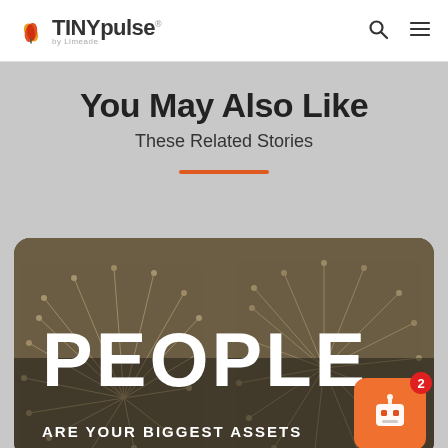TINYpulse by Limeade
You May Also Like
These Related Stories
[Figure (illustration): Card image with dandelion background and large white text reading PEOPLE ARE YOUR BIGGEST ASSETS]